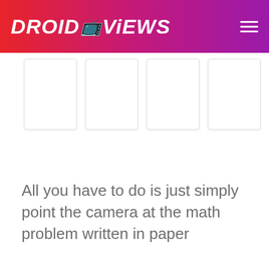DROIDVIEWS
[Figure (screenshot): Four white rectangular image cards in a row, with light borders and subtle shadows, against a white background]
All you have to do is just simply point the camera at the math problem written in paper